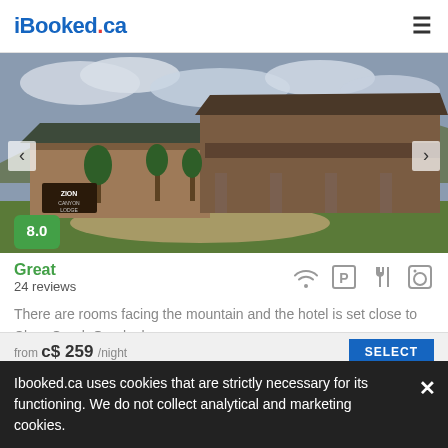iBooked.ca
[Figure (photo): Exterior photo of a hotel with rustic wooden architecture, mountains, cloudy sky, and green lawn. Zion Canyon Lodge sign visible in lower left.]
Great
24 reviews
There are rooms facing the mountain and the hotel is set close to Clear Creek Overlook.
from c$ 259/night
Ibooked.ca uses cookies that are strictly necessary for its functioning. We do not collect analytical and marketing cookies.